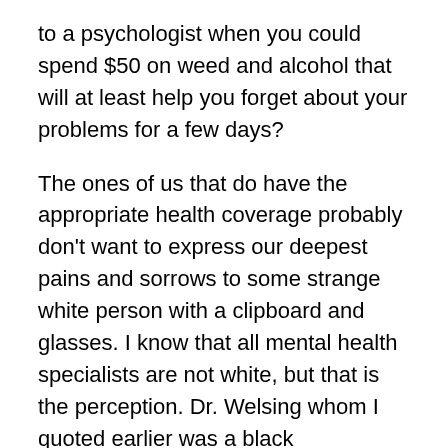to a psychologist when you could spend $50 on weed and alcohol that will at least help you forget about your problems for a few days?
The ones of us that do have the appropriate health coverage probably don't want to express our deepest pains and sorrows to some strange white person with a clipboard and glasses. I know that all mental health specialists are not white, but that is the perception. Dr. Welsing whom I quoted earlier was a black psychologist, but other than her I can count on one hand how many black psychologist I've heard of.
So day after day we push on. Hiding our pain and suffering behind grams, liters, and bottles.
If we had access to mental health care that was actually